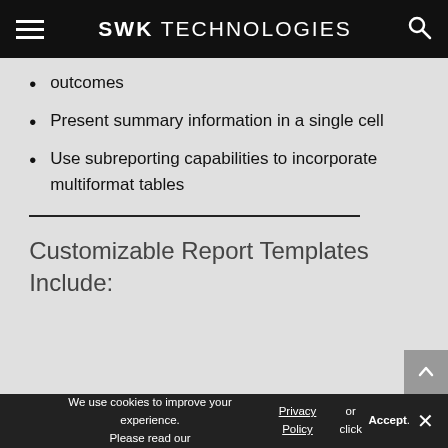SWK TECHNOLOGIES
outcomes
Present summary information in a single cell
Use subreporting capabilities to incorporate multiformat tables
Customizable Report Templates Include:
We use cookies to improve your experience. Please read our Privacy Policy or click Accept.